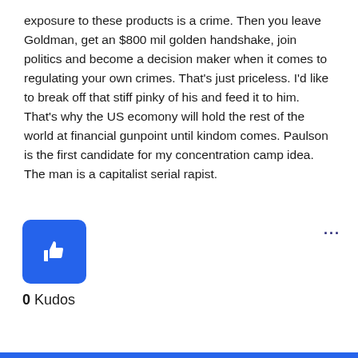exposure to these products is a crime. Then you leave Goldman, get an $800 mil golden handshake, join politics and become a decision maker when it comes to regulating your own crimes. That's just priceless. I'd like to break off that stiff pinky of his and feed it to him. That's why the US ecomony will hold the rest of the world at financial gunpoint until kindom comes. Paulson is the first candidate for my concentration camp idea. The man is a capitalist serial rapist.
[Figure (other): Blue thumbs-up (like/kudos) button icon, square with rounded corners]
0 Kudos